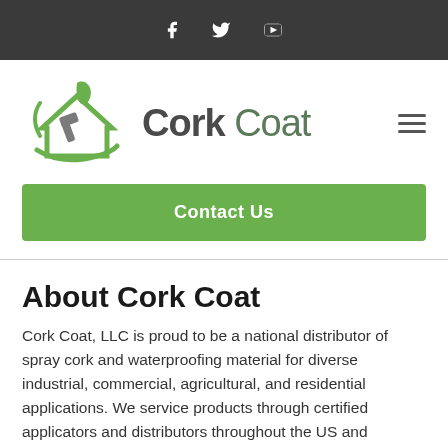Social media icons: Facebook, Twitter, YouTube
[Figure (logo): Cork Coat logo: green house icon with leaf and swoosh, gray hammer, with text 'Cork Coat']
Contact Us
About Cork Coat
Cork Coat, LLC is proud to be a national distributor of spray cork and waterproofing material for diverse industrial, commercial, agricultural, and residential applications. We service products through certified applicators and distributors throughout the US and